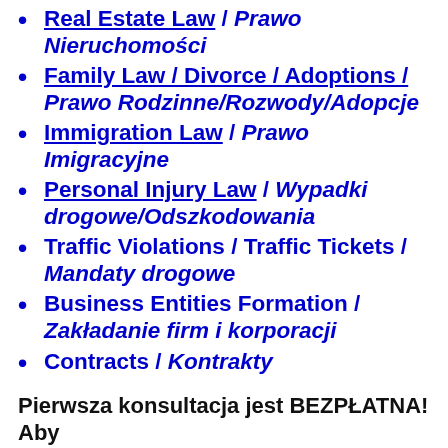Real Estate Law / Prawo Nieruchomości
Family Law / Divorce / Adoptions / Prawo Rodzinne/Rozwody/Adopcje
Immigration Law / Prawo Imigracyjne
Personal Injury Law / Wypadki drogowe/Odszkodowania
Traffic Violations / Traffic Tickets / Mandaty drogowe
Business Entities Formation / Zakładanie firm i korporacji
Contracts / Kontrakty
Pierwsza konsultacja jest BEZPŁATNA! Aby